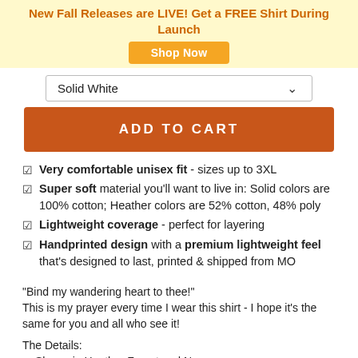New Fall Releases are LIVE! Get a FREE Shirt During Launch
Shop Now
Solid White
ADD TO CART
Very comfortable unisex fit - sizes up to 3XL
Super soft material you'll want to live in: Solid colors are 100% cotton; Heather colors are 52% cotton, 48% poly
Lightweight coverage - perfect for layering
Handprinted design with a premium lightweight feel that's designed to last, printed & shipped from MO
"Bind my wandering heart to thee!"
This is my prayer every time I wear this shirt - I hope it's the same for you and all who see it!
The Details:
Shown in Heather Forest and Navy